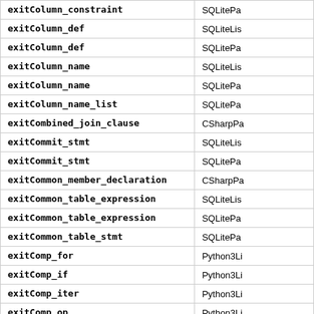| Method | Class |
| --- | --- |
| exitColumn_constraint | SQLitePa… |
| exitColumn_def | SQLiteLis… |
| exitColumn_def | SQLitePa… |
| exitColumn_name | SQLiteLis… |
| exitColumn_name | SQLitePa… |
| exitColumn_name_list | SQLitePa… |
| exitCombined_join_clause | CSharpPa… |
| exitCommit_stmt | SQLiteLis… |
| exitCommit_stmt | SQLitePa… |
| exitCommon_member_declaration | CSharpPa… |
| exitCommon_table_expression | SQLiteLis… |
| exitCommon_table_expression | SQLitePa… |
| exitCommon_table_stmt | SQLitePa… |
| exitComp_for | Python3Li… |
| exitComp_if | Python3Li… |
| exitComp_iter | Python3Li… |
| exitComp_op | Python3Li… |